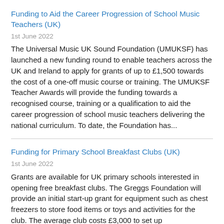Funding to Aid the Career Progression of School Music Teachers (UK)
1st June 2022
The Universal Music UK Sound Foundation (UMUKSF) has launched a new funding round to enable teachers across the UK and Ireland to apply for grants of up to £1,500 towards the cost of a one-off music course or training. The UMUKSF Teacher Awards will provide the funding towards a recognised course, training or a qualification to aid the career progression of school music teachers delivering the national curriculum. To date, the Foundation has...
Funding for Primary School Breakfast Clubs (UK)
1st June 2022
Grants are available for UK primary schools interested in opening free breakfast clubs. The Greggs Foundation will provide an initial start-up grant for equipment such as chest freezers to store food items or toys and activities for the club. The average club costs £3,000 to set up...